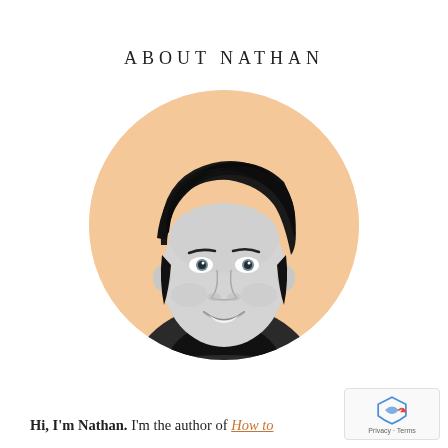ABOUT NATHAN
[Figure (photo): Circular portrait photo of Nathan with a peach/warm beige circular background. Black and white photo of a smiling young man with dark hair swept to the side.]
Hi, I'm Nathan. I'm the author of How to